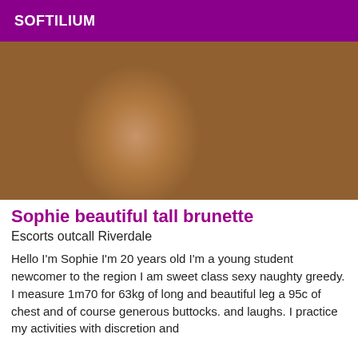SOFTILIUM
[Figure (photo): Close-up photo of a person's body]
Sophie beautiful tall brunette
Escorts outcall Riverdale
Hello I'm Sophie I'm 20 years old I'm a young student newcomer to the region I am sweet class sexy naughty greedy. I measure 1m70 for 63kg of long and beautiful leg a 95c of chest and of course generous buttocks. and laughs. I practice my activities with discretion and